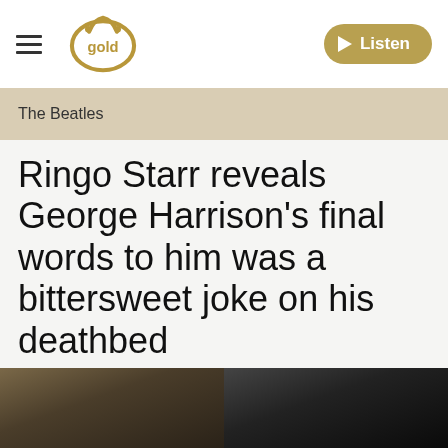gold | Listen
The Beatles
Ringo Starr reveals George Harrison's final words to him was a bittersweet joke on his deathbed
27 January 2021, 14:02 | Updated: 31 January 2022, 23:52
[Figure (photo): Two photographs side by side at the bottom of the page: left photo appears to show a person in a dark/warm-toned setting, right photo shows a person with dark hair against a dark background.]